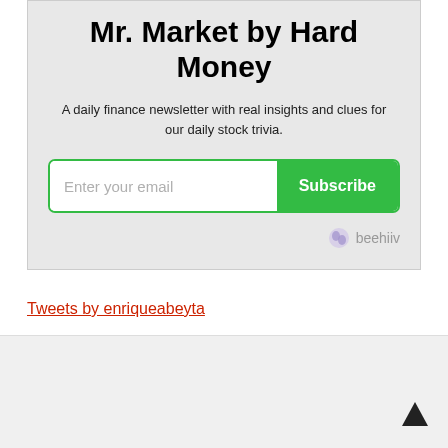Mr. Market by Hard Money
A daily finance newsletter with real insights and clues for our daily stock trivia.
[Figure (screenshot): Email subscription widget with input field and Subscribe button, beehiiv branding]
Tweets by enriqueabeyta